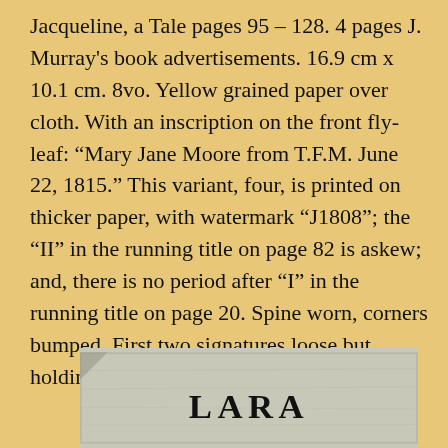Jacqueline, a Tale pages 95 – 128. 4 pages J. Murray's book advertisements. 16.9 cm x 10.1 cm. 8vo. Yellow grained paper over cloth. With an inscription on the front fly-leaf: “Mary Jane Moore from T.F.M. June 22, 1815.” This variant, four, is printed on thicker paper, with watermark “J1808”; the “II” in the running title on page 82 is askew; and, there is no period after “I” in the running title on page 20. Spine worn, corners bumped. First two signatures loose but holding.
[Figure (photo): Partial view of a book title page or cover showing the word LARA in large bold serif letters, on aged/grayish paper background.]